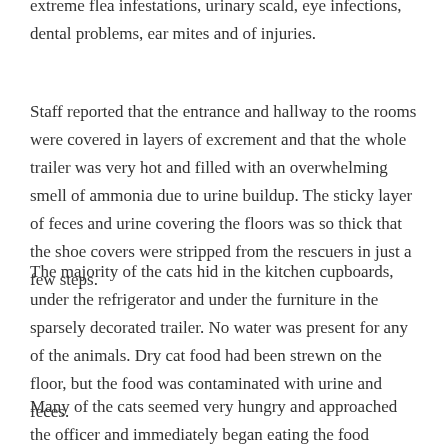extreme flea infestations, urinary scald, eye infections, dental problems, ear mites and of injuries.
Staff reported that the entrance and hallway to the rooms were covered in layers of excrement and that the whole trailer was very hot and filled with an overwhelming smell of ammonia due to urine buildup. The sticky layer of feces and urine covering the floors was so thick that the shoe covers were stripped from the rescuers in just a few steps.
The majority of the cats hid in the kitchen cupboards, under the refrigerator and under the furniture in the sparsely decorated trailer. No water was present for any of the animals. Dry cat food had been strewn on the floor, but the food was contaminated with urine and feces.
Many of the cats seemed very hungry and approached the officer and immediately began eating the food offered to them. The animals also had difficulty breathing, as is often the case in